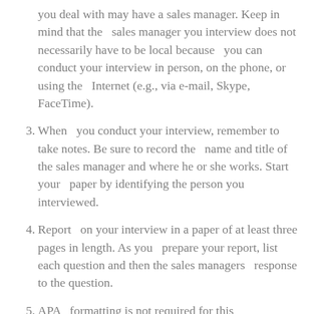you deal with may have a sales manager. Keep in mind that the sales manager you interview does not necessarily have to be local because you can conduct your interview in person, on the phone, or using the Internet (e.g., via e-mail, Skype, FaceTime).
3. When you conduct your interview, remember to take notes. Be sure to record the name and title of the sales manager and where he or she works. Start your paper by identifying the person you interviewed.
4. Report on your interview in a paper of at least three pages in length. As you prepare your report, list each question and then the sales managers response to the question.
5. APA formatting is not required for this